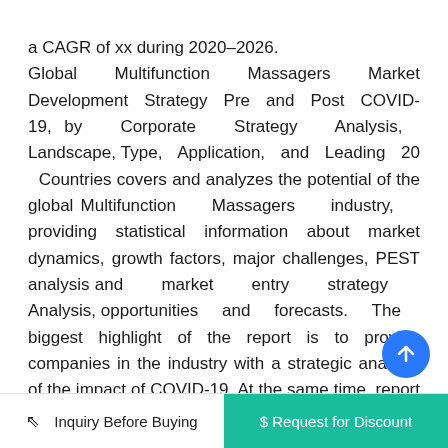a CAGR of xx during 2020-2026. Global Multifunction Massagers Market Development Strategy Pre and Post COVID-19, by Corporate Strategy Analysis, Landscape, Type, Application, and Leading 20 Countries covers and analyzes the potential of the global Multifunction Massagers industry, providing statistical information about market dynamics, growth factors, major challenges, PEST analysis and market entry strategy Analysis, opportunities and forecasts. The biggest highlight of the report is to provide companies in the industry with a strategic analysis of the impact of COVID-19. At the same time, report analyzed the market of leading 20
⇗ Inquiry Before Buying   $ Request for Discount